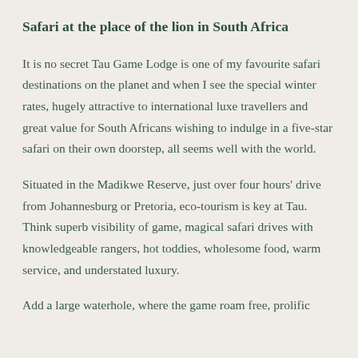Safari at the place of the lion in South Africa
It is no secret Tau Game Lodge is one of my favourite safari destinations on the planet and when I see the special winter rates, hugely attractive to international luxe travellers and great value for South Africans wishing to indulge in a five-star safari on their own doorstep, all seems well with the world.
Situated in the Madikwe Reserve, just over four hours' drive from Johannesburg or Pretoria, eco-tourism is key at Tau. Think superb visibility of game, magical safari drives with knowledgeable rangers, hot toddies, wholesome food, warm service, and understated luxury.
Add a large waterhole, where the game roam free, prolific